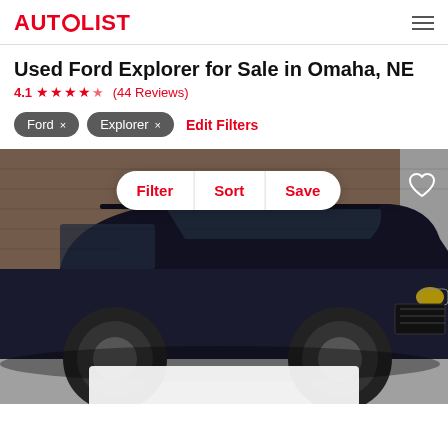AUTOLIST
Used Ford Explorer for Sale in Omaha, NE
4.1 ★★★★☆ (44 Reviews)
Ford ×
Explorer ×
Edit Filters
[Figure (photo): Black Ford Explorer SUV parked in front of a brick building, shown from a front three-quarter angle. Overlay buttons for Filter, Sort, and Save appear on top of the image, along with a heart/save icon in the top right corner.]